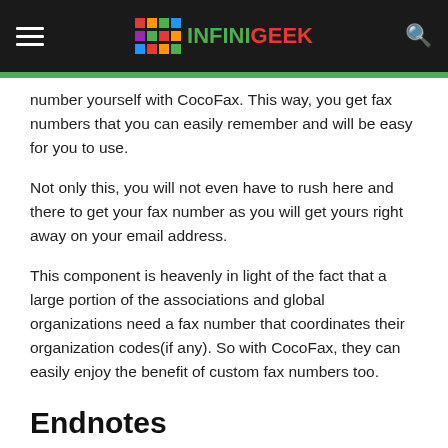INFINIGEEK
number yourself with CocoFax. This way, you get fax numbers that you can easily remember and will be easy for you to use.
Not only this, you will not even have to rush here and there to get your fax number as you will get yours right away on your email address.
This component is heavenly in light of the fact that a large portion of the associations and global organizations need a fax number that coordinates their organization codes(if any). So with CocoFax, they can easily enjoy the benefit of custom fax numbers too.
Endnotes
Wrapping it all up, there is no doubt that CocoFax is the only fax service provider where you will quality along with ease and convenience. So rush to the CocoFax website right now to grab